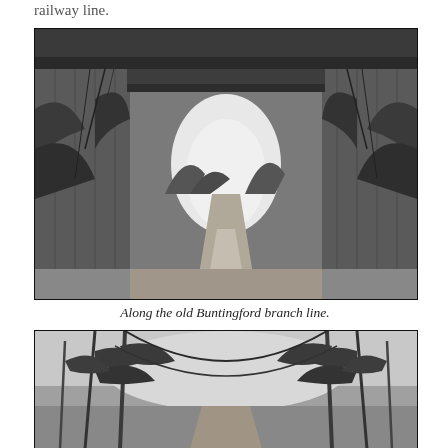railway line.
[Figure (photo): Black and white photograph taken under a railway bridge, looking through the arch at a narrow country lane receding into the distance, flanked by dense vegetation and trees. The heavy concrete/stone bridge structure and abutments frame the shot.]
Along the old Buntingford branch line.
[Figure (photo): Black and white photograph of a country path or track with bare winter trees arching overhead, giving a misty, atmospheric rural scene along the old Buntingford branch line.]